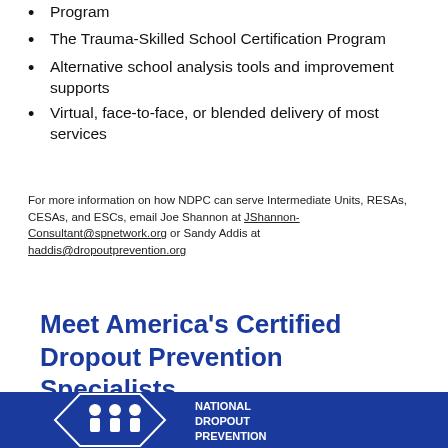Program
The Trauma-Skilled School Certification Program
Alternative school analysis tools and improvement supports
Virtual, face-to-face, or blended delivery of most services
For more information on how NDPC can serve Intermediate Units, RESAs, CESAs, and ESCs, email Joe Shannon at JShannon-Consultant@spnetwork.org or Sandy Addis at haddis@dropoutprevention.org
Meet America's Certified Dropout Prevention Specialists
[Figure (logo): National Dropout Prevention logo — dark blue hexagon shape with white figures and text reading NATIONAL DROPOUT PREVENTION]